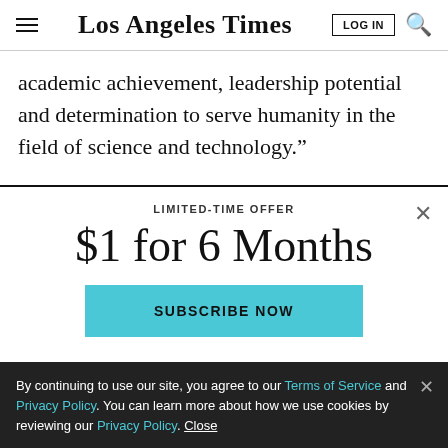Los Angeles Times
academic achievement, leadership potential and determination to serve humanity in the field of science and technology.”
LIMITED-TIME OFFER
$1 for 6 Months
SUBSCRIBE NOW
By continuing to use our site, you agree to our Terms of Service and Privacy Policy. You can learn more about how we use cookies by reviewing our Privacy Policy. Close